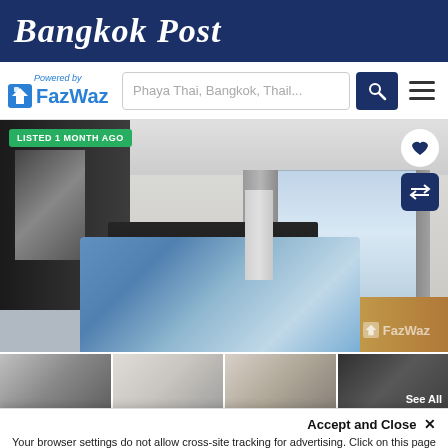Bangkok Post
Powered by FazWaz | Phaya Thai, Bangkok, Thail...
[Figure (photo): Bedroom interior with blue bedding, dark wood headboard, built-in white ceiling cabinets, large window with city view, wooden floor. Listed 1 month ago badge in green. FazWaz watermark.]
[Figure (photo): Four thumbnail images of the property interior. Last thumbnail shows 'See All' overlay.]
Accept and Close ×
Your browser settings do not allow cross-site tracking for advertising. Click on this page to allow AdRoll to use cross-site tracking to tailor ads to you. Learn more or opt out of this AdRoll tracking by clicking here. This message only appears once.